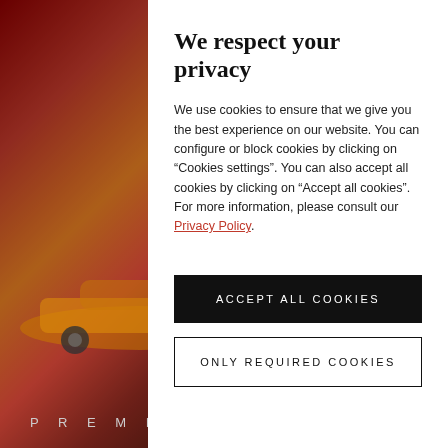[Figure (photo): Background photo showing an orange/yellow sports car (Porsche) in a dramatic red-lit industrial or theatrical environment, partially visible on the left side of the page.]
We respect your privacy
We use cookies to ensure that we give you the best experience on our website. You can configure or block cookies by clicking on “Cookies settings”. You can also accept all cookies by clicking on “Accept all cookies”. For more information, please consult our Privacy Policy.
ACCEPT ALL COOKIES
ONLY REQUIRED COOKIES
PREMIUM